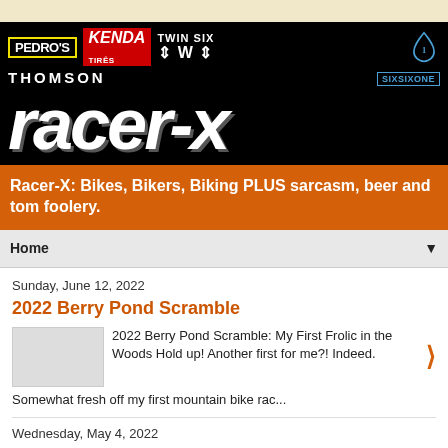[Figure (logo): Racer-X blog banner with sponsor logos: Pedro's, Kenda Tires, Twin Six, SixSixOne, Thomson, and large racer-x italic text on black background]
Racer-X: Bikes, Bikers, Biking PLUS sarcasm, beer and tom foolery.
Home
Sunday, June 12, 2022
2022 Berry Pond Scramble
2022 Berry Pond Scramble: My First Frolic in the Woods Hold up! Another first for me?! Indeed. Somewhat fresh off my first mountain bike rac...
Wednesday, May 4, 2022